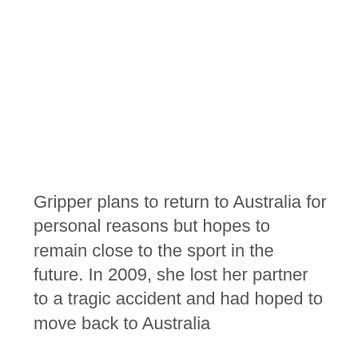Gripper plans to return to Australia for personal reasons but hopes to remain close to the sport in the future. In 2009, she lost her partner to a tragic accident and had hoped to move back to Australia